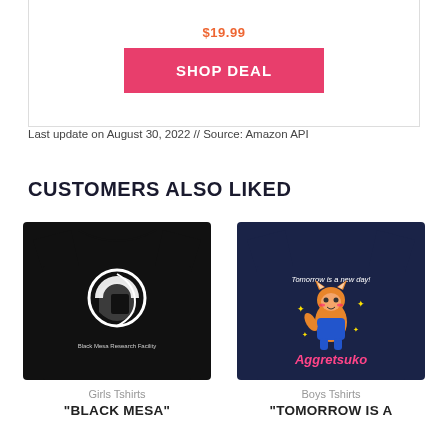$19.99
SHOP DEAL
Last update on August 30, 2022 // Source: Amazon API
CUSTOMERS ALSO LIKED
[Figure (photo): Black t-shirt with Black Mesa Research Facility logo (white circle with arrow shape)]
Girls Tshirts
"BLACK MESA"
[Figure (photo): Navy blue t-shirt with Aggretsuko cartoon character and text 'Tomorrow is a new day!']
Boys Tshirts
"TOMORROW IS A